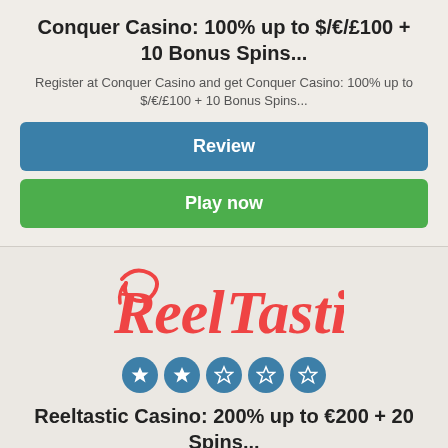Conquer Casino: 100% up to $/€/£100 + 10 Bonus Spins...
Register at Conquer Casino and get Conquer Casino: 100% up to $/€/£100 + 10 Bonus Spins...
Review
Play now
[Figure (logo): Reeltastic Casino logo in red cursive script]
2 out of 5 stars rating
Reeltastic Casino: 200% up to €200 + 20 Spins...